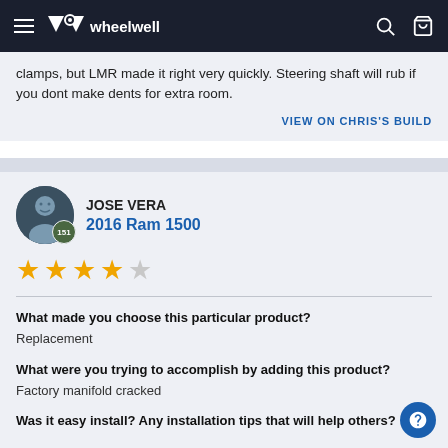wheelwell
clamps, but LMR made it right very quickly. Steering shaft will rub if you dont make dents for extra room.
VIEW ON CHRIS'S BUILD
JOSE VERA
2016 Ram 1500
★★★★☆ (4 out of 5 stars)
What made you choose this particular product?
Replacement
What were you trying to accomplish by adding this product?
Factory manifold cracked
Was it easy install? Any installation tips that will help others?